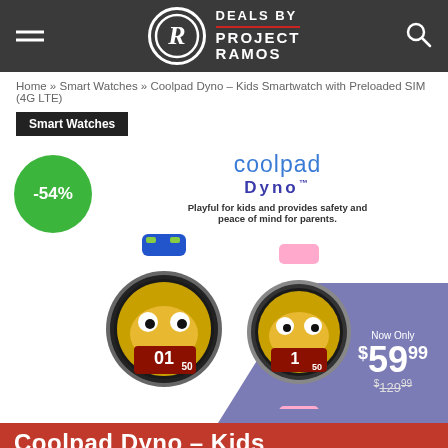DEALS BY PROJECT RAMOS
Home » Smart Watches » Coolpad Dyno – Kids Smartwatch with Preloaded SIM (4G LTE)
Smart Watches
[Figure (photo): Coolpad Dyno kids smartwatch product image showing two watches (blue and pink) with cartoon face displays. Green -54% discount circle on left. Price shown: Now Only $59.99, was $129.99. Purple diagonal banner in bottom right.]
Coolpad Dyno – Kids